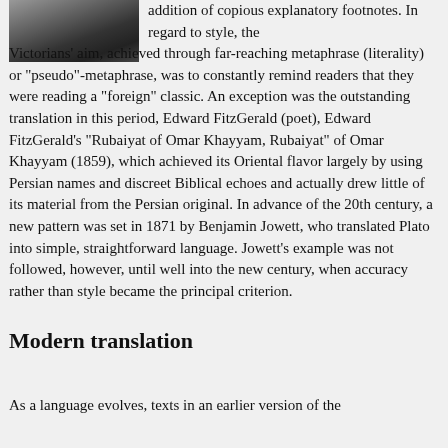[Figure (photo): Black and white photograph of a person, partially visible in the upper left.]
addition of copious explanatory footnotes. In regard to style, the Victorians' aim, achieved through far-reaching metaphrase (literality) or "pseudo"-metaphrase, was to constantly remind readers that they were reading a "foreign" classic. An exception was the outstanding translation in this period, Edward FitzGerald (poet), Edward FitzGerald's "Rubaiyat of Omar Khayyam, Rubaiyat" of Omar Khayyam (1859), which achieved its Oriental flavor largely by using Persian names and discreet Biblical echoes and actually drew little of its material from the Persian original. In advance of the 20th century, a new pattern was set in 1871 by Benjamin Jowett, who translated Plato into simple, straightforward language. Jowett's example was not followed, however, until well into the new century, when accuracy rather than style became the principal criterion.
Modern translation
As a language evolves, texts in an earlier version of the